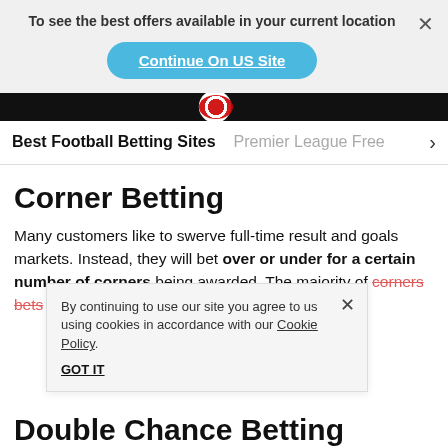To see the best offers available in your current location
Continue On US Site
Best Football Betting Sites   Premier League Free >
Corner Betting
Many customers like to swerve full-time result and goals markets. Instead, they will bet over or under for a certain number of corners being awarded. The majority of corners bets refer to the total corners in a m... am takes the c... lands you a profit.
By continuing to use our site you agree to us using cookies in accordance with our Cookie Policy.
GOT IT
Double Chance Betting